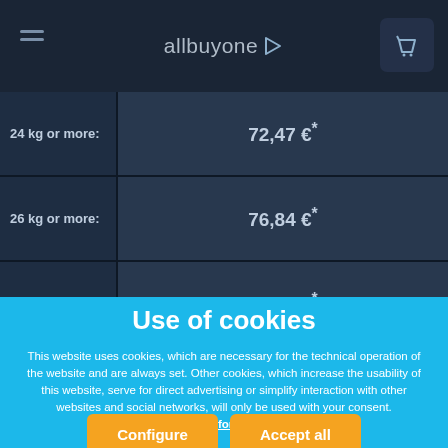allbuyone
| Weight | Price |
| --- | --- |
| 24 kg or more: | 72,47 €* |
| 26 kg or more: | 76,84 €* |
| 28 kg or more: | 83,49 €* |
| ... | ... |
Use of cookies
This website uses cookies, which are necessary for the technical operation of the website and are always set. Other cookies, which increase the usability of this website, serve for direct advertising or simplify interaction with other websites and social networks, will only be used with your consent. More information
Configure
Accept all